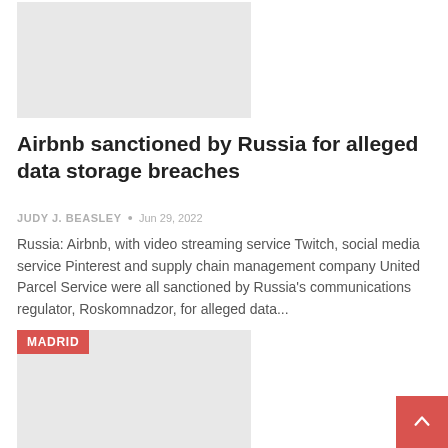[Figure (photo): Top article image placeholder (light gray rectangle)]
Airbnb sanctioned by Russia for alleged data storage breaches
JUDY J. BEASLEY  •  Jun 29, 2022
Russia: Airbnb, with video streaming service Twitch, social media service Pinterest and supply chain management company United Parcel Service were all sanctioned by Russia's communications regulator, Roskomnadzor, for alleged data...
[Figure (photo): Second article image placeholder with MADRID tag (light gray rectangle)]